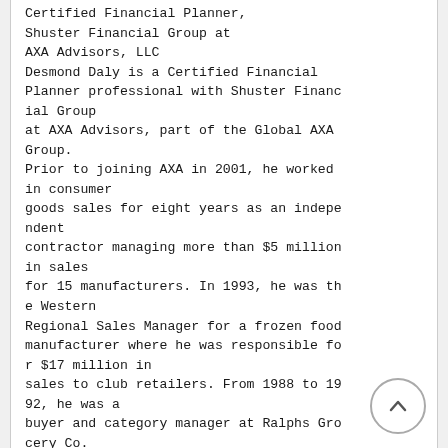Certified Financial Planner, Shuster Financial Group at AXA Advisors, LLC Desmond Daly is a Certified Financial Planner professional with Shuster Financial Group at AXA Advisors, part of the Global AXA Group. Prior to joining AXA in 2001, he worked in consumer goods sales for eight years as an independent contractor managing more than $5 million in sales for 15 manufacturers. In 1993, he was the Western Regional Sales Manager for a frozen food manufacturer where he was responsible for $17 million in sales to club retailers. From 1988 to 1992, he was a buyer and category manager at Ralphs Grocery Co. He started at Ralphs supermarket chain in store staff